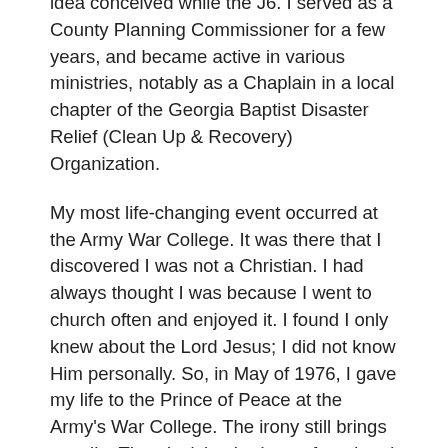idea conceived while the J6. I served as a County Planning Commissioner for a few years, and became active in various ministries, notably as a Chaplain in a local chapter of the Georgia Baptist Disaster Relief (Clean Up & Recovery) Organization.
My most life-changing event occurred at the Army War College. It was there that I discovered I was not a Christian. I had always thought I was because I went to church often and enjoyed it. I found I only knew about the Lord Jesus; I did not know Him personally. So, in May of 1976, I gave my life to the Prince of Peace at the Army's War College. The irony still brings a smile. That decision had a profound and still growing impact on my life.
My military service afforded me the up-close and personal opportunity to observe and interact with men of all ages, but especially with young men in their late teens and early twenties. Under such conditions one gets to know them, their behaviors and their backgrounds. Those years of experience with young men is, in great measure, what has informed my insights for my